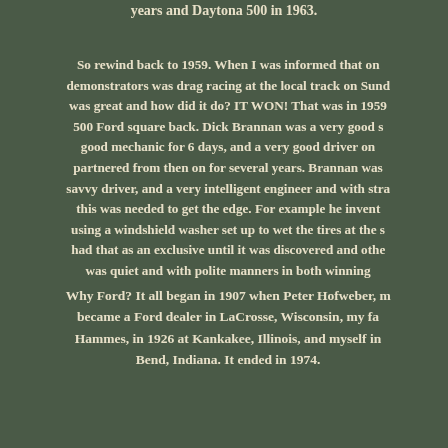years and Daytona 500 in 1963.
So rewind back to 1959. When I was informed that one of my demonstrators was drag racing at the local track on Sunday. How was great and how did it do? IT WON! That was in 1959 with a 500 Ford square back. Dick Brannan was a very good salesman, good mechanic for 6 days, and a very good driver on Sunday. We partnered from then on for several years. Brannan was a very savvy driver, and a very intelligent engineer and with strange ideas this was needed to get the edge. For example he invented a system using a windshield washer set up to wet the tires at the start. He had that as an exclusive until it was discovered and others. He was quiet and with polite manners in both winning
Why Ford? It all began in 1907 when Peter Hofweber, my grandfather became a Ford dealer in LaCrosse, Wisconsin, my father-in-law Hammes, in 1926 at Kankakee, Illinois, and myself in South Bend, Indiana. It ended in 1974.